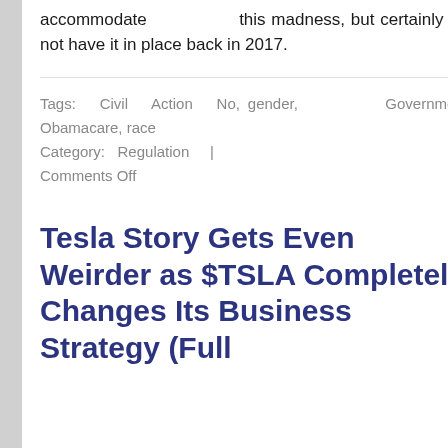accommodate this madness, but certainly did not have it in place back in 2017.
Tags: Civil Action No, gender, Government, Obamacare, race Category: Regulation | Comments Off
Tesla Story Gets Even Weirder as $TSLA Completely Changes Its Business Strategy (Full